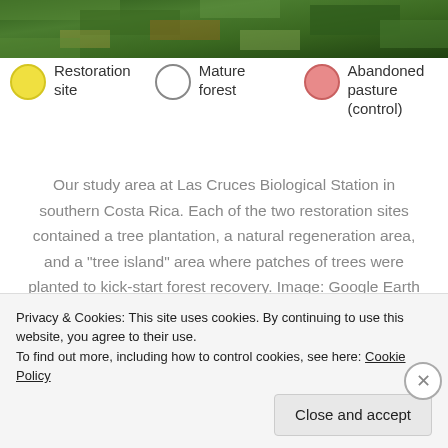[Figure (photo): Satellite aerial image of Las Cruces Biological Station study area showing forested and open patches, viewed from Google Earth 2018.]
Restoration site    Mature forest    Abandoned pasture (control)
Our study area at Las Cruces Biological Station in southern Costa Rica. Each of the two restoration sites contained a tree plantation, a natural regeneration area, and a "tree island" area where patches of trees were planted to kick-start forest recovery. Image: Google Earth 2018.
Antthrushes defended
Privacy & Cookies: This site uses cookies. By continuing to use this website, you agree to their use.
To find out more, including how to control cookies, see here: Cookie Policy
Close and accept